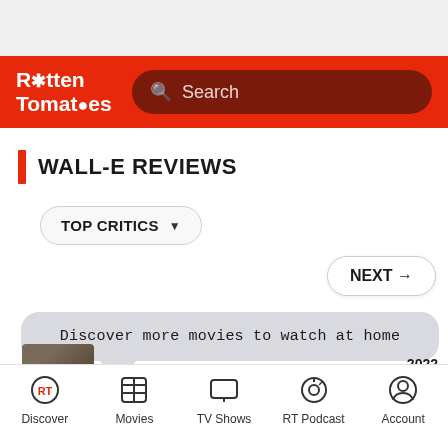[Figure (screenshot): Rotten Tomatoes app header with red background, RT logo on left and search bar on right]
WALL-E REVIEWS
TOP CRITICS ▼
NEXT →
Discover more movies to watch at home
2022
Discover  Movies  TV Shows  RT Podcast  Account